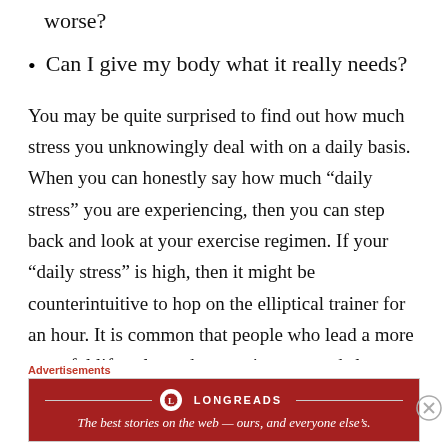worse?
Can I give my body what it really needs?
You may be quite surprised to find out how much stress you unknowingly deal with on a daily basis. When you can honestly say how much “daily stress” you are experiencing, then you can step back and look at your exercise regimen. If your “daily stress” is high, then it might be counterintuitive to hop on the elliptical trainer for an hour. It is common that people who lead a more stressful lifestyle tend to gravitate towards longer cardio as a way to deal with stress — the inner push is already in their nature. Instead, try yoga or a
Advertisements
[Figure (logo): Longreads advertisement banner: 'The best stories on the web — ours, and everyone else’s.']